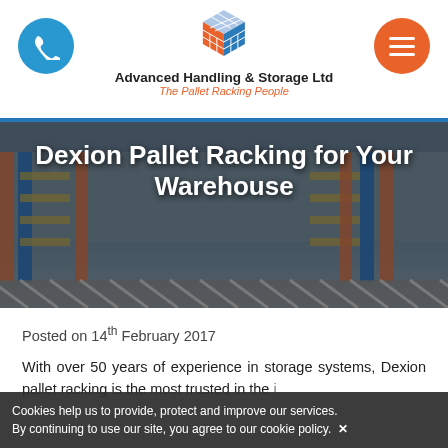[Figure (logo): Advanced Handling & Storage Ltd logo - colorful cube made of smaller colored cubes (orange, blue, white/grey)]
Advanced Handling & Storage Ltd
The Pallet Racking People
[Figure (photo): Warehouse interior with blue metal pallet racking shelving, orange uprights, industrial storage facility, overlaid with the article title text]
Dexion Pallet Racking for Your Warehouse
Posted on 14th February 2017
With over 50 years of experience in storage systems, Dexion pallet racking is the most trusted in the industry, should be the number one choice for your warehouse storage, you may
Cookies help us to provide, protect and improve our services. By continuing to use our site, you agree to our cookie policy.